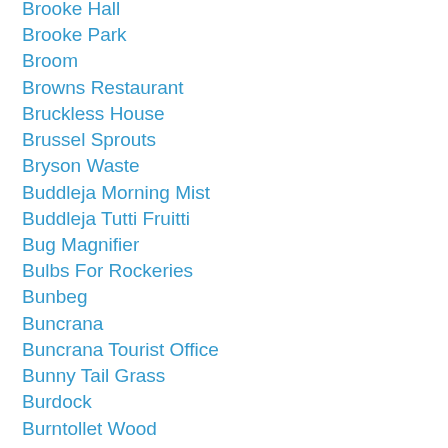Brooke Hall
Brooke Park
Broom
Browns Restaurant
Bruckless House
Brussel Sprouts
Bryson Waste
Buddleja Morning Mist
Buddleja Tutti Fruitti
Bug Magnifier
Bulbs For Rockeries
Bunbeg
Buncrana
Buncrana Tourist Office
Bunny Tail Grass
Burdock
Burntollet Wood
Butterfly Bush
Buxus Topiary
Calandula
Calendula Officinalis